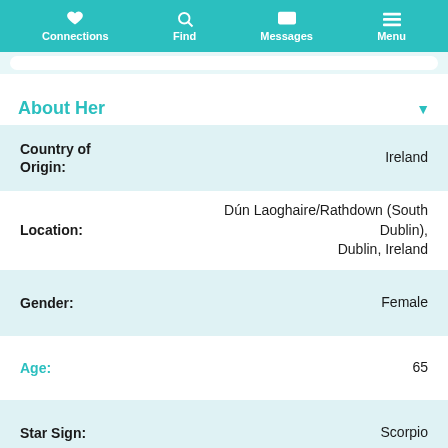Connections | Find | Messages | Menu
About Her
| Field | Value |
| --- | --- |
| Country of Origin: | Ireland |
| Location: | Dún Laoghaire/Rathdown (South Dublin), Dublin, Ireland |
| Gender: | Female |
| Age: | 65 |
| Star Sign: | Scorpio |
| Height: | Ask me later |